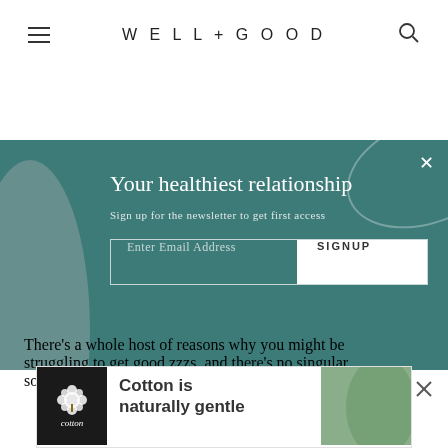WELL+GOOD
[Figure (screenshot): Newsletter signup banner with teal/dark green background, title 'Your healthiest relationship', subtitle 'Sign up for the newsletter to get first access', and an email signup form with SIGNUP button]
There’s a whole host of reasons why you might be struggling to get good zzzs, and there’s no singular solution for restlessness. “Everyone is different,” Dr.
[Figure (illustration): Cotton is naturally gentle advertisement banner with cotton logo and green fabric image]